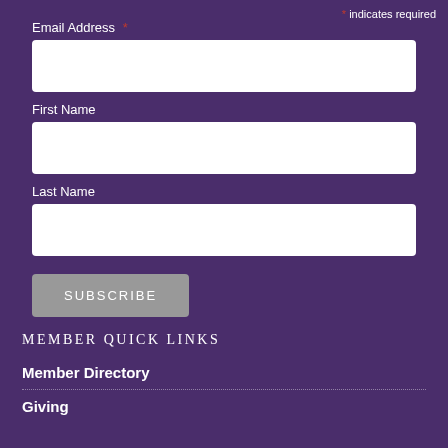* indicates required
Email Address *
First Name
Last Name
SUBSCRIBE
MEMBER QUICK LINKS
Member Directory
Giving